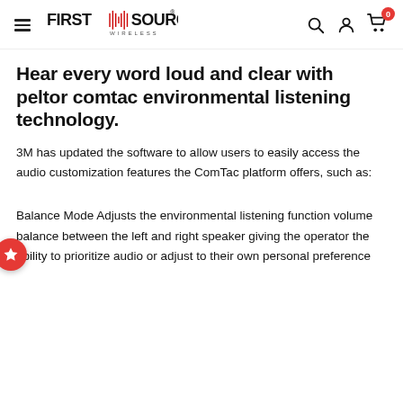First Source Wireless — navigation header with logo, search, account, and cart icons
Hear every word loud and clear with peltor comtac environmental listening technology.
3M has updated the software to allow users to easily access the audio customization features the ComTac platform offers, such as:
Balance Mode Adjusts the environmental listening function volume balance between the left and right speaker giving the operator the ability to prioritize audio or adjust to their own personal preference